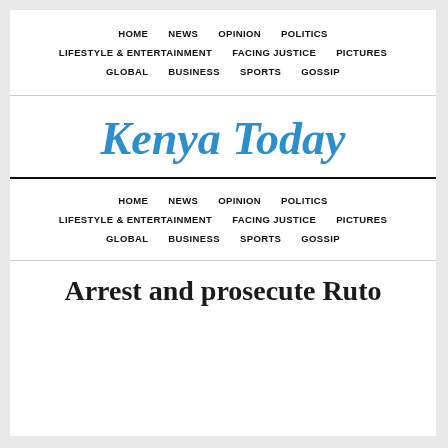HOME  NEWS  OPINION  POLITICS  LIFESTYLE & ENTERTAINMENT  FACING JUSTICE  PICTURES  GLOBAL  BUSINESS  SPORTS  GOSSIP
Kenya Today
HOME  NEWS  OPINION  POLITICS  LIFESTYLE & ENTERTAINMENT  FACING JUSTICE  PICTURES  GLOBAL  BUSINESS  SPORTS  GOSSIP
Arrest and prosecute Ruto